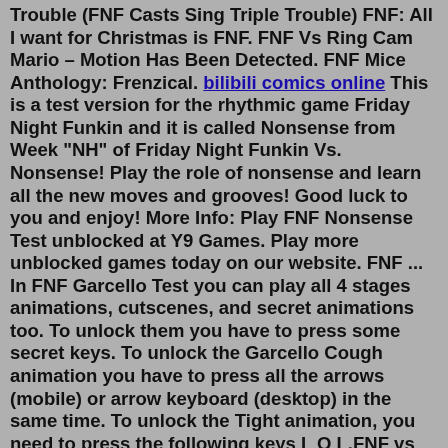Trouble (FNF Casts Sing Triple Trouble) FNF: All I want for Christmas is FNF. FNF Vs Ring Cam Mario – Motion Has Been Detected. FNF Mice Anthology: Frenzical. bilibili comics online This is a test version for the rhythmic game Friday Night Funkin and it is called Nonsense from Week "NH" of Friday Night Funkin Vs. Nonsense! Play the role of nonsense and learn all the new moves and grooves! Good luck to you and enjoy! More Info: Play FNF Nonsense Test unblocked at Y9 Games. Play more unblocked games today on our website. FNF ... In FNF Garcello Test you can play all 4 stages animations, cutscenes, and secret animations too. To unlock them you have to press some secret keys. To unlock the Garcello Cough animation you have to press all the arrows (mobile) or arrow keyboard (desktop) in the same time. To unlock the Tight animation, you need to press the following keys L O L.FNF vs Nonsense is one of the most popular FNF Mod based on the Friday Night Funkin game. This Nonsense FNF Mod is a little bit difficult so you can play it on Easy mode. In This FNF